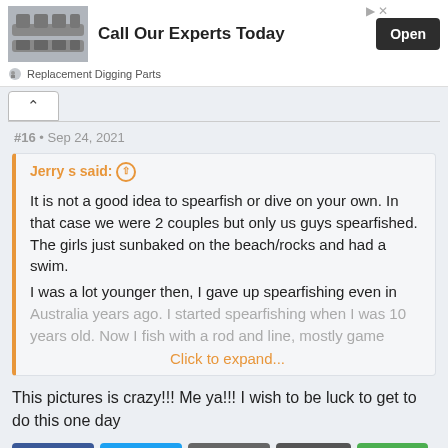[Figure (photo): Ad banner with machinery chain image, text 'Call Our Experts Today' and 'Open' button]
Replacement Digging Parts
#16 • Sep 24, 2021
Jerry s said: ↑

It is not a good idea to spearfish or dive on your own. In that case we were 2 couples but only us guys spearfished. The girls just sunbaked on the beach/rocks and had a swim.
I was a lot younger then, I gave up spearfishing even in Australia years ago. I started spearfishing when I was 10 years old. Now I fish with a rod and line, mostly game
Click to expand...
This pictures is crazy!!! Me ya!!! I wish to be luck to get to do this one day